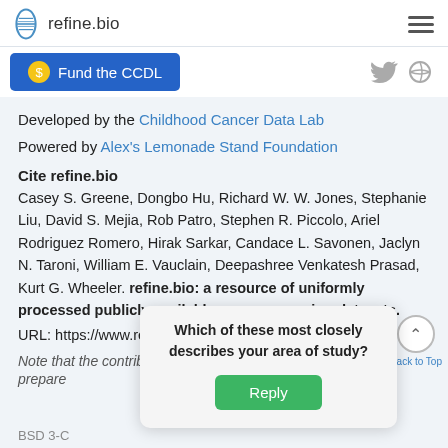refine.bio
Fund the CCDL
Developed by the Childhood Cancer Data Lab
Powered by Alex's Lemonade Stand Foundation
Cite refine.bio
Casey S. Greene, Dongbo Hu, Richard W. W. Jones, Stephanie Liu, David S. Mejia, Rob Patro, Stephen R. Piccolo, Ariel Rodriguez Romero, Hirak Sarkar, Candace L. Savonen, Jaclyn N. Taroni, William E. Vauclain, Deepashree Venkatesh Prasad, Kurt G. Wheeler. refine.bio: a resource of uniformly processed publicly available gene expression datasets.
URL: https://www.refine.bio
Note that the contributor list is in alphabetical … as w prepare…
Which of these most closely describes your area of study?
Reply
BSD 3-C…